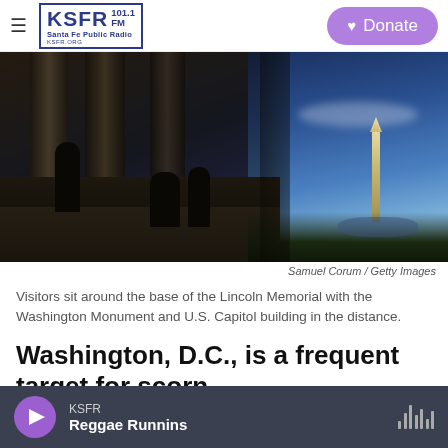KSFR 101.1 FM Santa Fe Public Radio | Donate
[Figure (photo): Visitors sit around the base of the Lincoln Memorial at dusk, with the Washington Monument and U.S. Capitol building visible in the distance against a blue sky.]
Samuel Corum / Getty Images
Visitors sit around the base of the Lincoln Memorial with the Washington Monument and U.S. Capitol building in the distance.
Washington, D.C., is a frequent target for scorn.
KSFR  Reggae Runnins